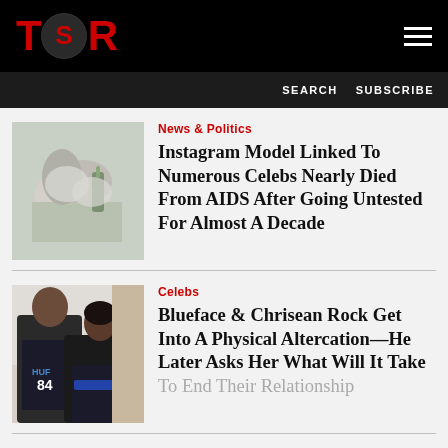TSR
SEARCH  SUBSCRIBE
[Figure (photo): Close-up of hands in rubber gloves holding a medical device, blood draw or testing context]
News & Politics
Instagram Model Linked To Numerous Celebs Nearly Died From AIDS After Going Untested For Almost A Decade
[Figure (photo): Two people posing together: a man with tattoos wearing a HUF basketball jersey and a woman beside him]
Celebs
Blueface & Chrisean Rock Get Into A Physical Altercation—He Later Asks Her What Will It Take To End Their Relationship